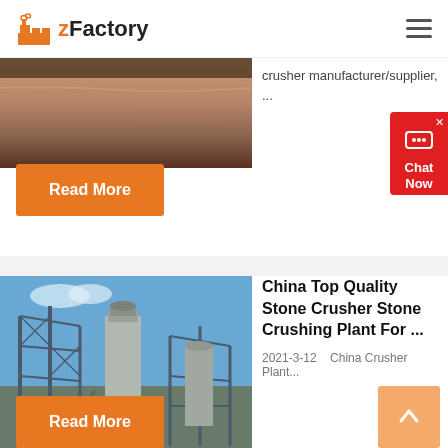zFactory
[Figure (photo): Partial thumbnail of crushed stone/rock material, brownish-pink texture]
crusher manufacturer/supplier, ...
Read More
[Figure (photo): Industrial stone crushing plant with metal scaffolding, silos, and blue sky background]
China Top Quality Stone Crusher Stone Crushing Plant For ...
2021-3-12    China Crusher Plant...
Read More